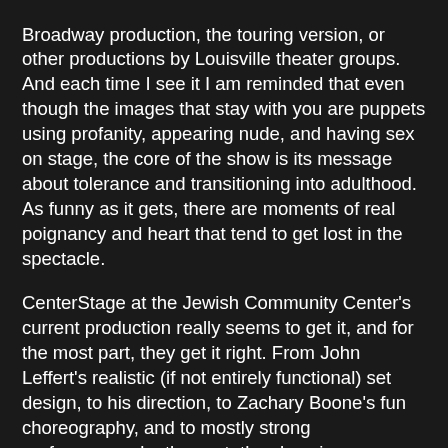Broadway production, the touring version, or other productions by Louisville theater groups. And each time I see it I am reminded that even though the images that stay with you are puppets using profanity, appearing nude, and having sex on stage, the core of the show is its message about tolerance and transitioning into adulthood. As funny as it gets, there are moments of real poignancy and heart that tend to get lost in the spectacle.
CenterStage at the Jewish Community Center's current production really seems to get it, and for the most part, they get it right. From John Leffert's realistic (if not entirely functional) set design, to his direction, to Zachary Boone's fun choreography, and to mostly strong performances by the cast, the show is pure entertainment from start to finish.
Basically it's the what-if story of what might have become of the beloved characters on Sesame Street once they've grown up. It's a mix of actors performing with and without puppets in a series of vignettes teaching lessons you'd never learn from the Children's Television Workshop, whether it's using the internet to watch porn, staying in